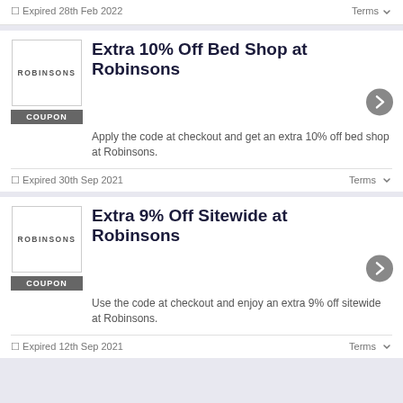Expired 28th Feb 2022
Terms
Extra 10% Off Bed Shop at Robinsons
COUPON
Apply the code at checkout and get an extra 10% off bed shop at Robinsons.
Expired 30th Sep 2021
Terms
Extra 9% Off Sitewide at Robinsons
COUPON
Use the code at checkout and enjoy an extra 9% off sitewide at Robinsons.
Expired 12th Sep 2021
Terms